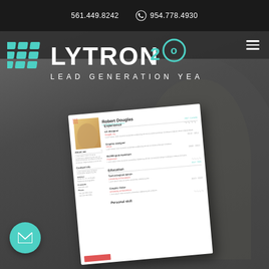561.449.8242   954.778.4930
[Figure (logo): Lytron Lead Generation 20 Years logo with teal grid icon and text]
[Figure (photo): Screenshot of a company website header featuring the Lytron Lead Generation 20 Years logo on a dark background, with a resume card overlay showing Robert Douglas, and a man in the background. Email contact button at bottom left.]